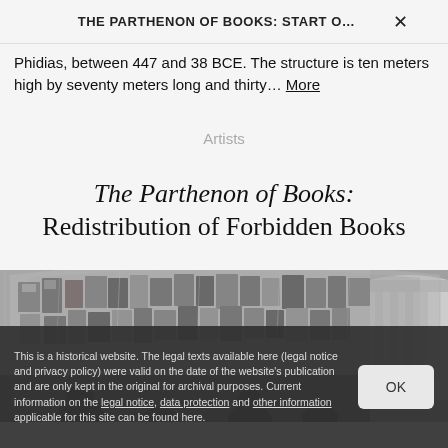THE PARTHENON OF BOOKS: START O...
Phidias, between 447 and 38 BCE. The structure is ten meters high by seventy meters long and thirty... More
Artists
The Parthenon of Books: Redistribution of Forbidden Books
[Figure (photo): Black and white photograph of the Parthenon of Books installation showing books wrapped in plastic/transparent sheeting arranged in an arch structure, with people visible in the foreground and a classical building in the background.]
This is a historical website. The legal texts available here (legal notice and privacy policy) were valid on the date of the website's publication and are only kept in the original for archival purposes. Current information on the legal notice, data protection and other information applicable for this site can be found here.